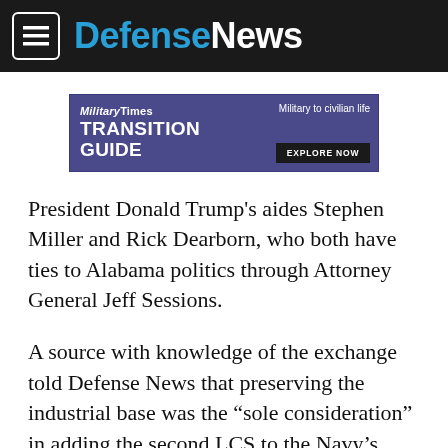DefenseNews
[Figure (infographic): MilitaryTimes Transition Guide advertisement banner — purple background, text 'MilitaryTimes TRANSITION GUIDE' on left, 'Military to civilian life EXPLORE NOW' on right]
President Donald Trump’s aides Stephen Miller and Rick Dearborn, who both have ties to Alabama politics through Attorney General Jeff Sessions.
A source with knowledge of the exchange told Defense News that preserving the industrial base was the “sole consideration” in adding the second LCS to the Navy’s budget request.